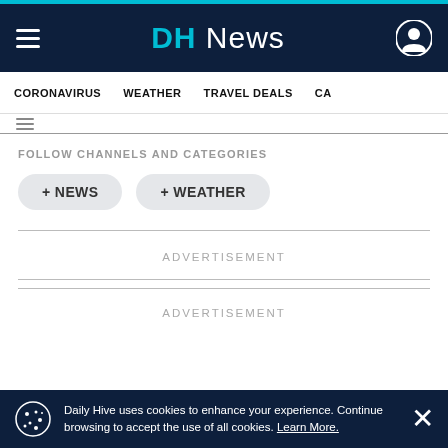DH News
CORONAVIRUS · WEATHER · TRAVEL DEALS · CA…
FOLLOW CHANNELS AND CATEGORIES
+ NEWS
+ WEATHER
ADVERTISEMENT
ADVERTISEMENT
Daily Hive uses cookies to enhance your experience. Continue browsing to accept the use of all cookies. Learn More.